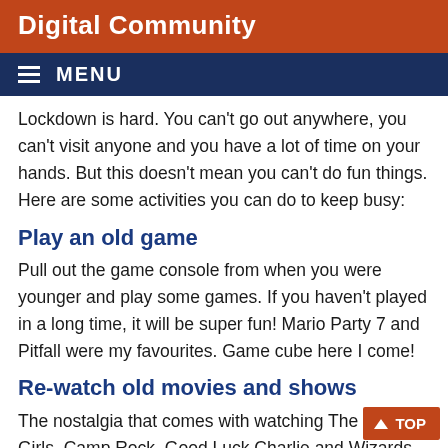Digital Community
MENU
Lockdown is hard. You can't go out anywhere, you can't visit anyone and you have a lot of time on your hands. But this doesn't mean you can't do fun things. Here are some activities you can do to keep busy:
Play an old game
Pull out the game console from when you were younger and play some games. If you haven't played in a long time, it will be super fun! Mario Party 7 and Pitfall were my favourites. Game cube here I come!
Re-watch old movies and shows
The nostalgia that comes with watching The Cheetah Girls, Camp Rock, Good Luck Charlie and Wizards of Waverly Place is always amazing.